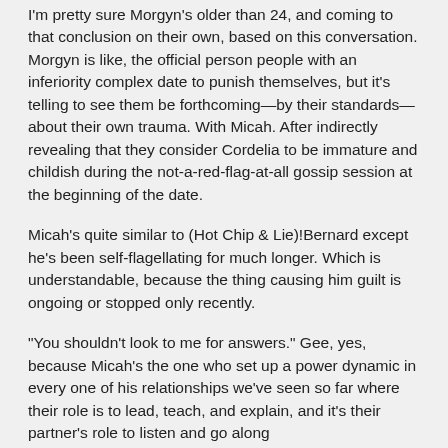I'm pretty sure Morgyn's older than 24, and coming to that conclusion on their own, based on this conversation. Morgyn is like, the official person people with an inferiority complex date to punish themselves, but it's telling to see them be forthcoming—by their standards—about their own trauma. With Micah. After indirectly revealing that they consider Cordelia to be immature and childish during the not-a-red-flag-at-all gossip session at the beginning of the date.
Micah's quite similar to (Hot Chip & Lie)!Bernard except he's been self-flagellating for much longer. Which is understandable, because the thing causing him guilt is ongoing or stopped only recently.
"You shouldn't look to me for answers." Gee, yes, because Micah's the one who set up a power dynamic in every one of his relationships we've seen so far where their role is to lead, teach, and explain, and it's their partner's role to listen and go along